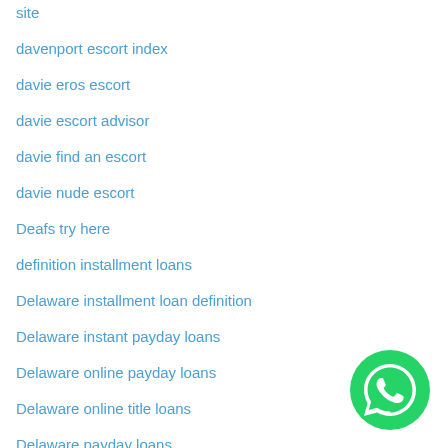site
davenport escort index
davie eros escort
davie escort advisor
davie find an escort
davie nude escort
Deafs try here
definition installment loans
Delaware installment loan definition
Delaware instant payday loans
Delaware online payday loans
Delaware online title loans
Delaware payday loans
Delaware_Millsboro payday loans
[Figure (logo): WhatsApp green circular button icon]